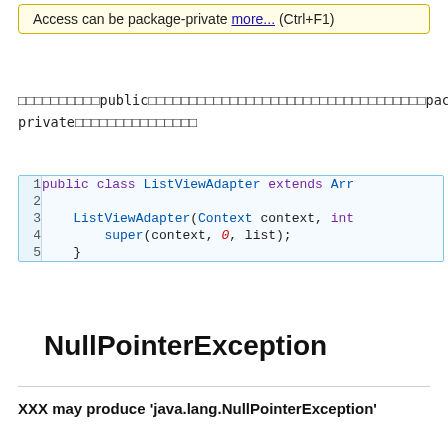Access can be package-private more... (Ctrl+F1)
□□□□□□□□□□public□□□□□□□□□□□□□□□□□□□□□□□□□□□□□□□□□□package-private□□□□□□□□□□□□□□□
[Figure (screenshot): Code snippet showing: 1 public class ListViewAdapter extends Arr  2  3     ListViewAdapter(Context context, int  4         super(context, 0, list);  5     }]
NullPointerException
XXX may produce 'java.lang.NullPointerException'